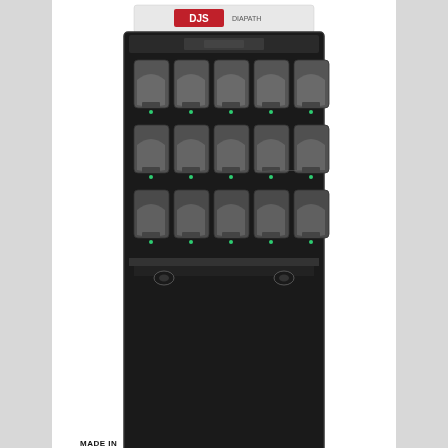[Figure (photo): DiaPath Donatello Series 2 Tissue Processor product photo — a black cabinet-style tissue processor with multiple grey cassette holders arranged in a 3x5 grid, with manufacturer logo at top and casters at bottom. Features a 'Made in Italy' badge with green and red flag stripes.]
DiaPath Donatello Series 2 Tissue Processor
[Figure (other): Search bar with placeholder text 'Search ...' and a red 'Search' button]